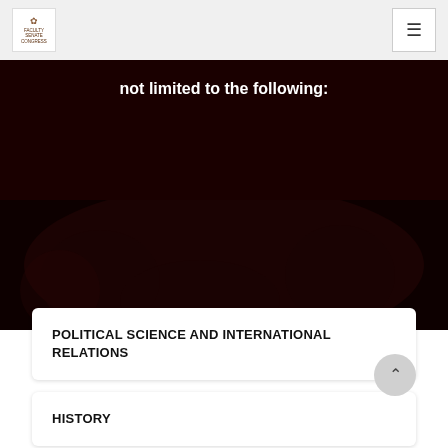[Figure (logo): Organization logo with emblem and text 'Faculty Senate Congress']
not limited to the following:
[Figure (photo): Dark background photo showing silhouettes of people in a dark red/black toned image]
POLITICAL SCIENCE AND INTERNATIONAL RELATIONS
HISTORY